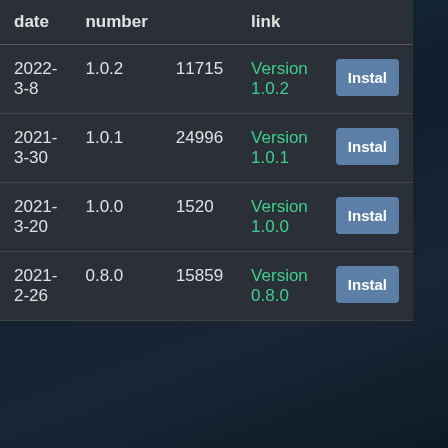| date | number |  | link |  |
| --- | --- | --- | --- | --- |
| 2022-3-8 | 1.0.2 | 11715 | Version 1.0.2 | Install |
| 2021-3-30 | 1.0.1 | 24996 | Version 1.0.1 | Install |
| 2021-3-20 | 1.0.0 | 1520 | Version 1.0.0 | Install |
| 2021-2-26 | 0.8.0 | 15859 | Version 0.8.0 | Install |